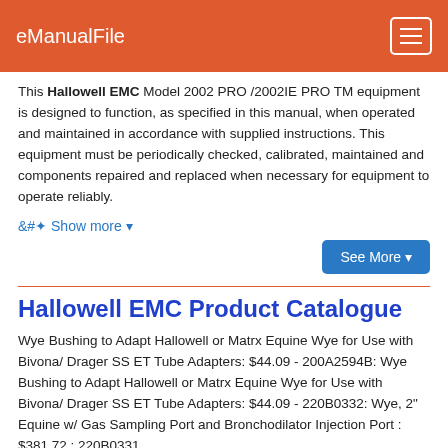eManualFile
This Hallowell EMC Model 2002 PRO /2002IE PRO TM equipment is designed to function, as specified in this manual, when operated and maintained in accordance with supplied instructions. This equipment must be periodically checked, calibrated, maintained and components repaired and replaced when necessary for equipment to operate reliably.
+ Show more ▾
See More ▾
Hallowell EMC Product Catalogue
Wye Bushing to Adapt Hallowell or Matrx Equine Wye for Use with Bivona/ Drager SS ET Tube Adapters: $44.09 - 200A2594B: Wye Bushing to Adapt Hallowell or Matrx Equine Wye for Use with Bivona/ Drager SS ET Tube Adapters: $44.09 - 220B0332: Wye, 2" Equine w/ Gas Sampling Port and Bronchodilator Injection Port : $381.72 : 220B0331